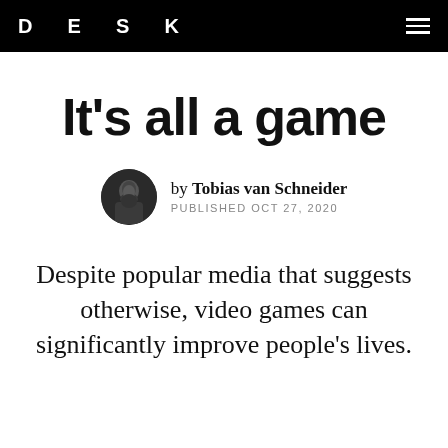DESK
It’s all a game
by Tobias van Schneider
PUBLISHED OCT 27, 2020
Despite popular media that suggests otherwise, video games can significantly improve people’s lives.